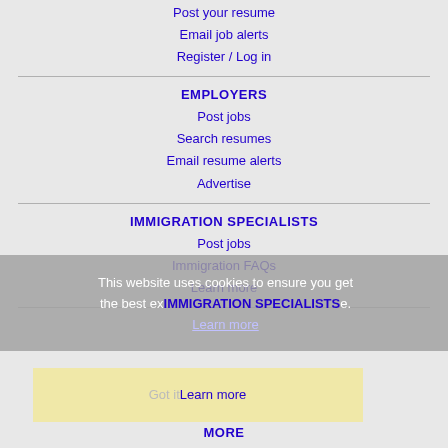Post your resume
Email job alerts
Register / Log in
EMPLOYERS
Post jobs
Search resumes
Email resume alerts
Advertise
IMMIGRATION SPECIALISTS
Post jobs
Immigration FAQs
Learn more
This website uses cookies to ensure you get the best experience. Learn more
Got it
MORE